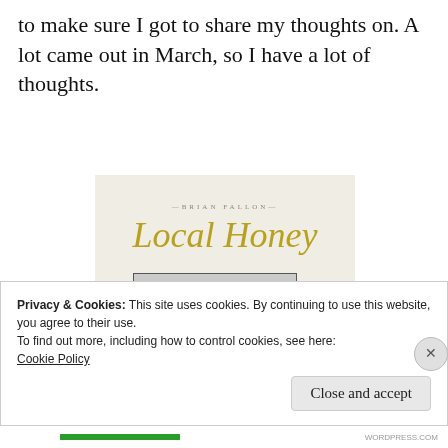to make sure I got to share my thoughts on. A lot came out in March, so I have a lot of thoughts.
[Figure (photo): Album cover for 'Local Honey' by Brian Fallon. Cream/off-white background with artist name in small spaced caps at top, cursive gold 'Local Honey' script title, and a black-and-white photograph of a person standing among trees.]
Privacy & Cookies: This site uses cookies. By continuing to use this website, you agree to their use.
To find out more, including how to control cookies, see here:
Cookie Policy
Close and accept